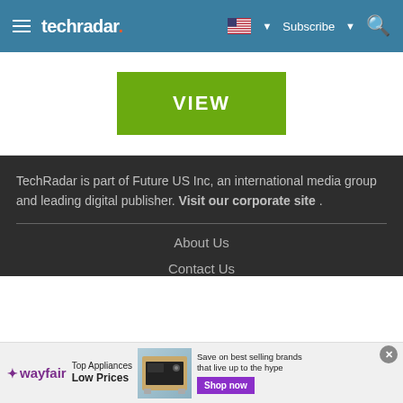techradar
[Figure (other): Green VIEW button advertisement banner on white background]
TechRadar is part of Future US Inc, an international media group and leading digital publisher. Visit our corporate site .
About Us
Contact Us
[Figure (infographic): Wayfair advertisement banner: Top Appliances Low Prices, image of a stove/range, Save on best selling brands that live up to the hype, Shop now button]